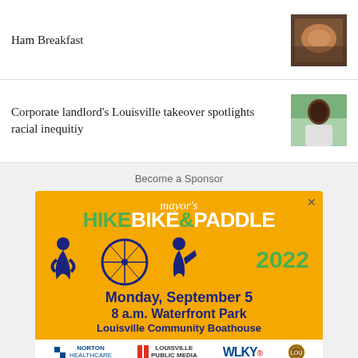Ham Breakfast
[Figure (photo): Thumbnail photo related to Ham Breakfast article]
Corporate landlord's Louisville takeover spotlights racial inequitiy
[Figure (photo): Thumbnail photo of a man outdoors]
Become a Sponsor
[Figure (illustration): Advertisement for Mayor's Hike Bike & Paddle 2022 event. Monday, September 5, 8 a.m. Waterfront Park, Louisville Community Boathouse. Sponsors: Norton Healthcare, Louisville Public Media, WLKY. Website: hikebikeandpaddle.org. Social: @AroundLou]